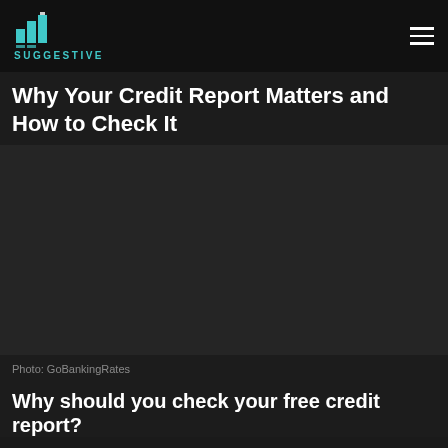Suggestive
Why Your Credit Report Matters and How to Check It
[Figure (photo): Photo placeholder image related to credit report, dark background]
Photo: GoBankingRates
Why should you check your free credit report?